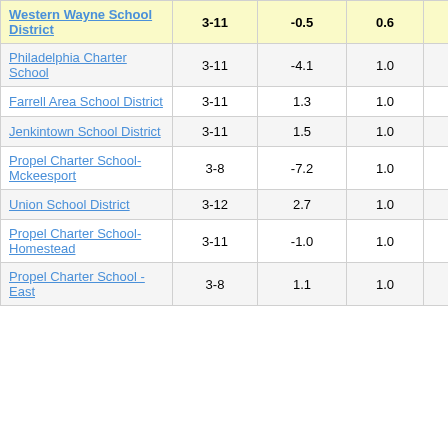| School/District | Grades | Col1 | Col2 | Score |
| --- | --- | --- | --- | --- |
| Western Wayne School District | 3-11 | -0.5 | 0.6 | -0.81 |
| Philadelphia Charter School | 3-11 | -4.1 | 1.0 | -4.10 |
| Farrell Area School District | 3-11 | 1.3 | 1.0 | 1.30 |
| Jenkintown School District | 3-11 | 1.5 | 1.0 | 1.51 |
| Propel Charter School-Mckeesport | 3-8 | -7.2 | 1.0 | -7.15 |
| Union School District | 3-12 | 2.7 | 1.0 | 2.65 |
| Propel Charter School-Homestead | 3-11 | -1.0 | 1.0 | -0.97 |
| Propel Charter School - East | 3-8 | 1.1 | 1.0 | 1.08 |